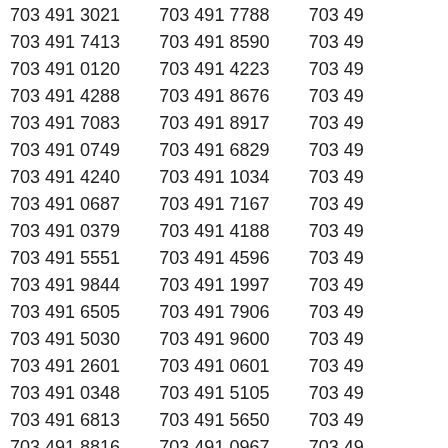703 491 3021 | 703 491 7788 | 703 491 ...
703 491 7413 | 703 491 8590 | 703 491 ...
703 491 0120 | 703 491 4223 | 703 491 ...
703 491 4288 | 703 491 8676 | 703 491 ...
703 491 7083 | 703 491 8917 | 703 491 ...
703 491 0749 | 703 491 6829 | 703 491 ...
703 491 4240 | 703 491 1034 | 703 491 ...
703 491 0687 | 703 491 7167 | 703 491 ...
703 491 0379 | 703 491 4188 | 703 491 ...
703 491 5551 | 703 491 4596 | 703 491 ...
703 491 9844 | 703 491 1997 | 703 491 ...
703 491 6505 | 703 491 7906 | 703 491 ...
703 491 5030 | 703 491 9600 | 703 491 ...
703 491 2601 | 703 491 0601 | 703 491 ...
703 491 0348 | 703 491 5105 | 703 491 ...
703 491 6813 | 703 491 5650 | 703 491 ...
703 491 8816 | 703 491 0967 | 703 491 ...
703 491 9579 | 703 491 4257 | 703 491 ...
703 491 4079 | 703 491 0186 | 703 491 ...
703 491 9794 | 703 491 0840 | 703 491 ...
703 491 6269 | 703 491 4936 | 703 491 ...